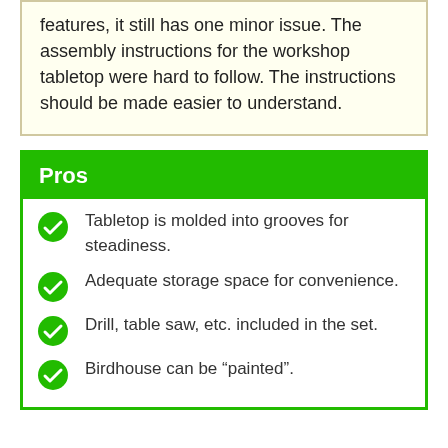features, it still has one minor issue. The assembly instructions for the workshop tabletop were hard to follow. The instructions should be made easier to understand.
Pros
Tabletop is molded into grooves for steadiness.
Adequate storage space for convenience.
Drill, table saw, etc. included in the set.
Birdhouse can be “painted”.